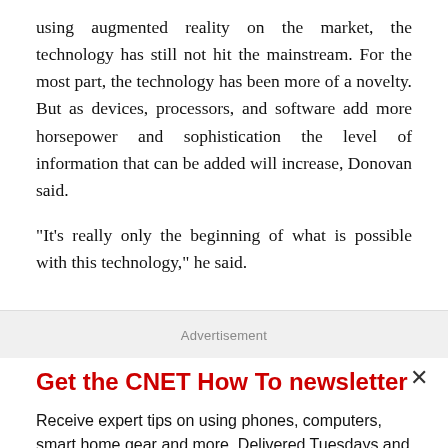using augmented reality on the market, the technology has still not hit the mainstream. For the most part, the technology has been more of a novelty. But as devices, processors, and software add more horsepower and sophistication the level of information that can be added will increase, Donovan said.
"It's really only the beginning of what is possible with this technology," he said.
Advertisement
Get the CNET How To newsletter
Receive expert tips on using phones, computers, smart home gear and more. Delivered Tuesdays and Thursdays.